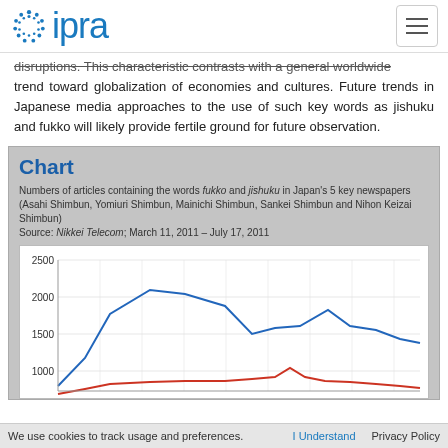ipra
disruptions. This characteristic contrasts with a general worldwide trend toward globalization of economies and cultures. Future trends in Japanese media approaches to the use of such key words as jishuku and fukko will likely provide fertile ground for future observation.
Chart
Numbers of articles containing the words fukko and jishuku in Japan's 5 key newspapers (Asahi Shimbun, Yomiuri Shimbun, Mainichi Shimbun, Sankei Shimbun and Nihon Keizai Shimbun) Source: Nikkei Telecom; March 11, 2011 – July 17, 2011
[Figure (line-chart): Line chart showing counts (y-axis 1000–2500) over time March–July 2011. Blue line (fukko) peaks around 2300 then declines to ~1350. Red line (jishuku) stays low near 1000.]
We use cookies to track usage and preferences.  I Understand  Privacy Policy